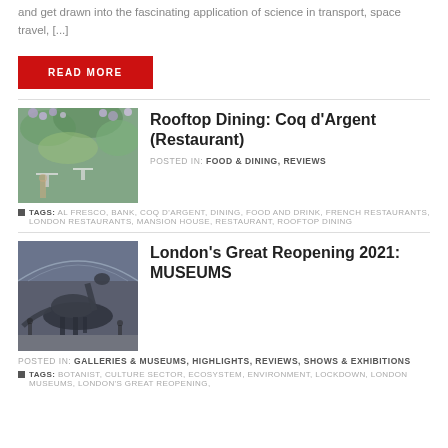and get drawn into the fascinating application of science in transport, space travel, [...]
READ MORE
Rooftop Dining: Coq d'Argent (Restaurant)
[Figure (photo): Rooftop garden dining area with wisteria or flowering vines on wall, outdoor tables and chairs]
POSTED IN: FOOD & DINING, REVIEWS
TAGS: AL FRESCO, BANK, COQ D'ARGENT, DINING, FOOD AND DRINK, FRENCH RESTAURANTS, LONDON RESTAURANTS, MANSION HOUSE, RESTAURANT, ROOFTOP DINING
London's Great Reopening 2021: MUSEUMS
[Figure (photo): Interior of a large museum with natural history dinosaur or large specimen exhibit under a glass ceiling]
POSTED IN: GALLERIES & MUSEUMS, HIGHLIGHTS, REVIEWS, SHOWS & EXHIBITIONS
TAGS: BOTANIST, CULTURE SECTOR, ECOSYSTEM, ENVIRONMENT, LOCKDOWN, LONDON MUSEUMS, LONDON'S GREAT REOPENING,